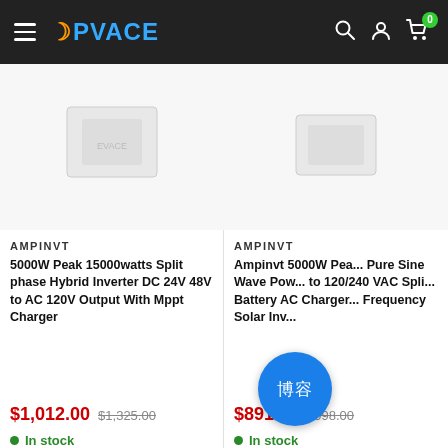EVACE navigation bar with hamburger menu, logo, search, account, cart icons
[Figure (screenshot): Product image placeholder for 5000W Hybrid Inverter]
AMPINVT
5000W Peak 15000watts Split phase Hybrid Inverter DC 24V 48V to AC 120V Output With Mppt Charger
$1,012.00  $1,325.00
In stock
[Figure (screenshot): Product image placeholder for Ampinvt 5000W Pure Sine Wave Inverter]
AMPINVT
Ampinvt 5000W Peak Pure Sine Wave Power to 120/240 VAC Split Battery AC Charger Frequency Solar Inv
$891.00  $998.00
In stock